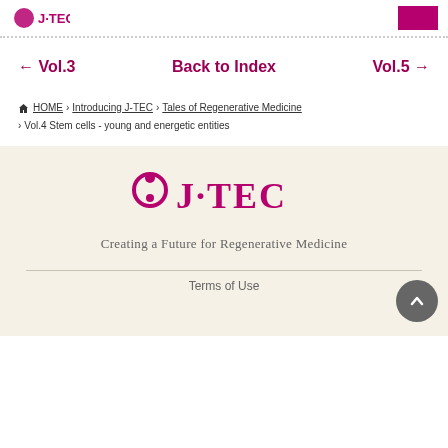J-TEC header navigation
← Vol.3   Back to Index   Vol.5 →
HOME > Introducing J-TEC > Tales of Regenerative Medicine > Vol.4 Stem cells - young and energetic entities
[Figure (logo): J-TEC logo with circular figure icon and text J·TEC in pink/maroon color]
Creating a Future for Regenerative Medicine
Terms of Use